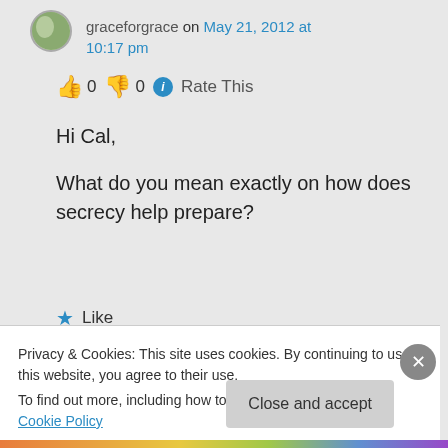graceforgrace on May 21, 2012 at 10:17 pm
👍 0 👎 0 ℹ Rate This
Hi Cal,

What do you mean exactly on how does secrecy help prepare?
★ Like
Privacy & Cookies: This site uses cookies. By continuing to use this website, you agree to their use.
To find out more, including how to control cookies, see here: Cookie Policy
Close and accept